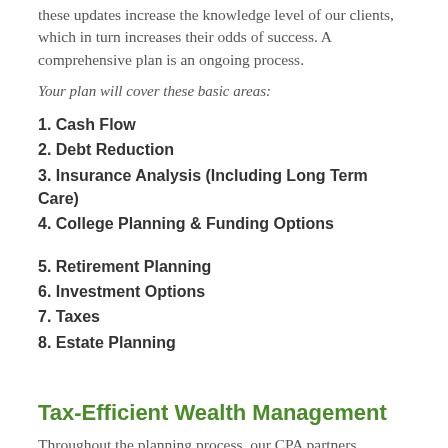these updates increase the knowledge level of our clients, which in turn increases their odds of success. A comprehensive plan is an ongoing process.
Your plan will cover these basic areas:
1. Cash Flow
2. Debt Reduction
3. Insurance Analysis (Including Long Term Care)
4. College Planning & Funding Options
5. Retirement Planning
6. Investment Options
7. Taxes
8. Estate Planning
Tax-Efficient Wealth Management
Throughout the planning process, our CPA partners